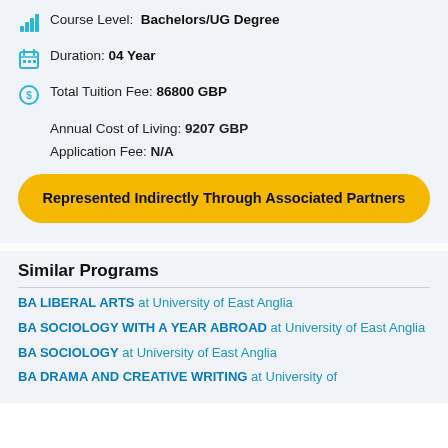Course Level: Bachelors/UG Degree
Duration: 04 Year
Total Tuition Fee: 86800 GBP
Annual Cost of Living: 9207 GBP
Application Fee: N/A
Represented Indirectly Through Associated Partners
Similar Programs
BA LIBERAL ARTS at University of East Anglia
BA SOCIOLOGY WITH A YEAR ABROAD at University of East Anglia
BA SOCIOLOGY at University of East Anglia
BA DRAMA AND CREATIVE WRITING at University of